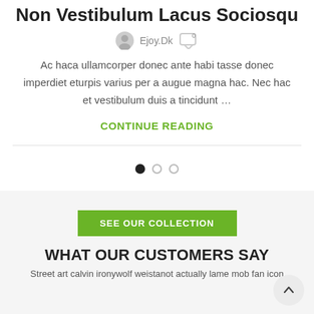Non Vestibulum Lacus Sociosqu
Ejoy.Dk
Ac haca ullamcorper donec ante habi tasse donec imperdiet eturpis varius per a augue magna hac. Nec hac et vestibulum duis a tincidunt …
CONTINUE READING
[Figure (other): Slider pagination dots: one filled black dot and two empty/outline dots]
SEE OUR COLLECTION
WHAT OUR CUSTOMERS SAY
Street art calvin ironywolf weistanot actually lame mob fan icon